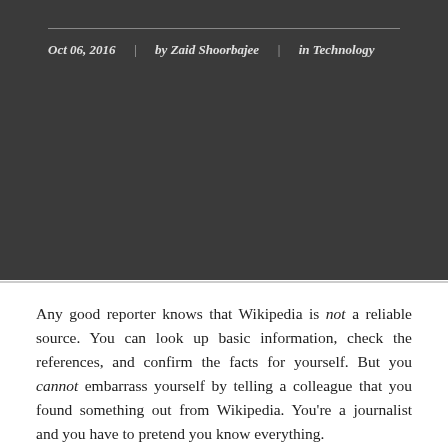Oct 06, 2016 | by Zaid Shoorbajee | in Technology
Any good reporter knows that Wikipedia is not a reliable source. You can look up basic information, check the references, and confirm the facts for yourself. But you cannot embarrass yourself by telling a colleague that you found something out from Wikipedia. You're a journalist and you have to pretend you know everything.
Now, there's a new wiki made with journalists, among